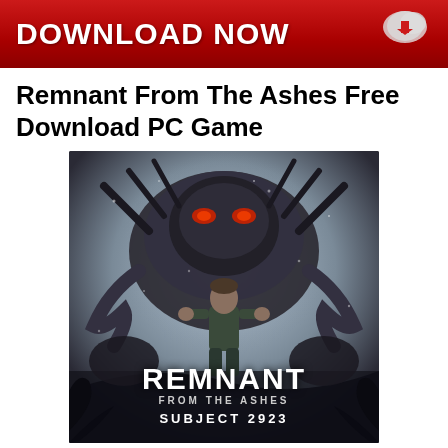[Figure (other): Red download button banner with DOWNLOAD NOW text and download cloud icon]
Remnant From The Ashes Free Download PC Game
[Figure (illustration): Game cover art for Remnant: From The Ashes - Subject 2923, showing a warrior figure in front of a large monstrous creature with spikes, dark atmospheric style with text REMNANT FROM THE ASHES SUBJECT 2923]